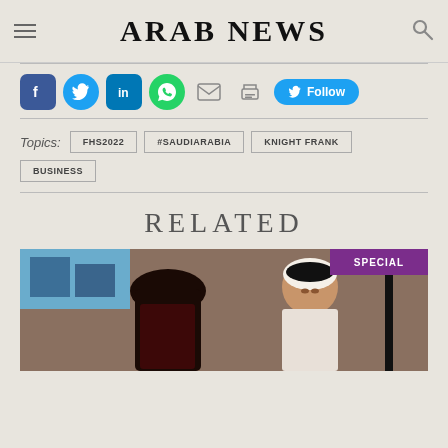ARAB NEWS
[Figure (screenshot): Social sharing icons: Facebook, Twitter, LinkedIn, WhatsApp, Email, Print, and a Follow button]
Topics: FHS2022  #SAUDIARABIA  KNIGHT FRANK  BUSINESS
RELATED
[Figure (photo): Photo of two men in traditional Saudi clothing at an event, with a SPECIAL badge overlay in the top right corner]